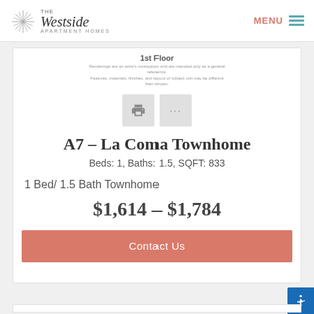The Westside Apartment Homes — MENU
1st Floor
Renderings are an artist's conception and are intended only as a general reference. Features, materials, finishes, and layout of subject unit may be different than shown.
A7 - La Coma Townhome
Beds: 1, Baths: 1.5, SQFT: 833
1 Bed/ 1.5 Bath Townhome
$1,614 - $1,784
Contact Us